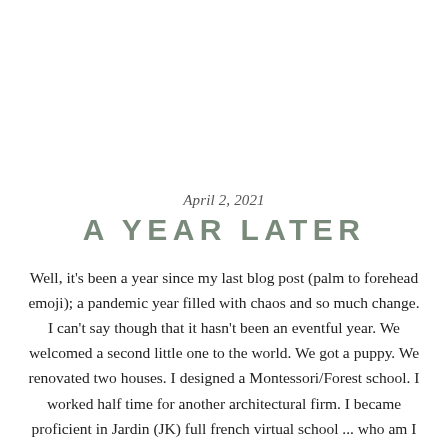April 2, 2021
A YEAR LATER
Well, it's been a year since my last blog post (palm to forehead emoji); a pandemic year filled with chaos and so much change. I can't say though that it hasn't been an eventful year. We welcomed a second little one to the world. We got a puppy. We renovated two houses. I designed a Montessori/Forest school. I worked half time for another architectural firm. I became proficient in Jardin (JK) full french virtual school ... who am I kidding, I'm still not great at handing in assignments and I'm still running around with a